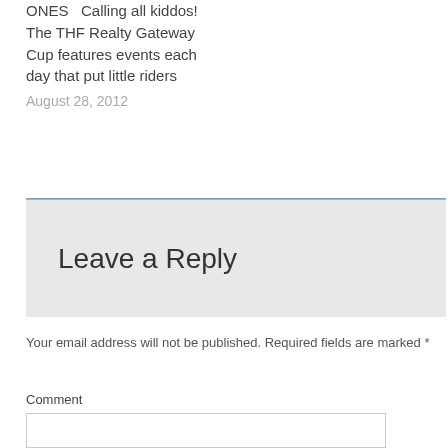ONES   Calling all kiddos! The THF Realty Gateway Cup features events each day that put little riders
August 28, 2012
Leave a Reply
Your email address will not be published. Required fields are marked *
Comment